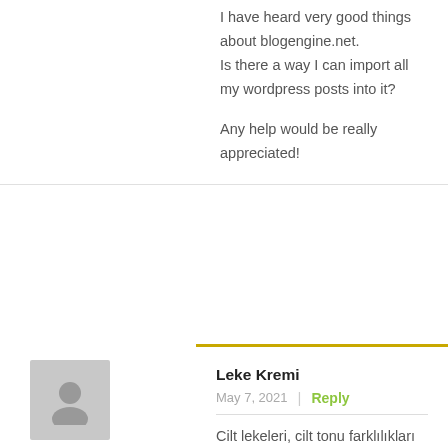I have heard very good things about blogengine.net. Is there a way I can import all my wordpress posts into it?

Any help would be really appreciated!
Leke Kremi
May 7, 2021
Reply
Cilt lekeleri, cilt tonu farklılıkları leke kremi gibi cildinizde oluşan herhangi bir leke için Hccare leke kremini deneyebilirsiniz iddalı bir marka
olan bu firmanın tüm ürünleri güvenilir olduğu gibi leke kremi de güvenlidir.
Leke kremi : https://rebrand.ly/lekekremi